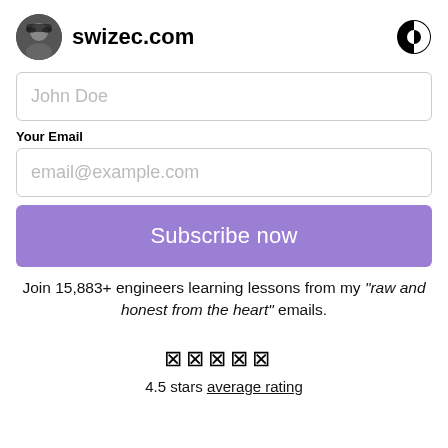swizec.com
John Doe
Your Email
email@example.com
Subscribe now
Join 15,883+ engineers learning lessons from my "raw and honest from the heart" emails.
[Figure (other): Five star rating emoji icons (★★★★★)]
4.5 stars average rating